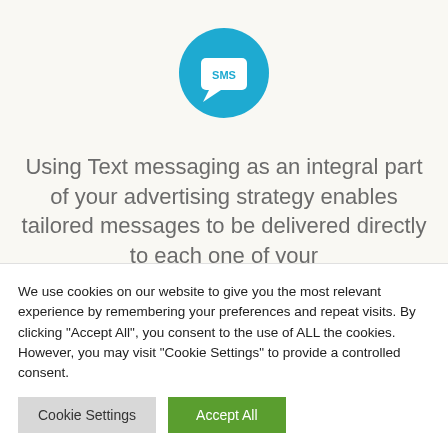[Figure (logo): Blue circle icon with a white speech bubble containing the text 'SMS']
Using Text messaging as an integral part of your advertising strategy enables tailored messages to be delivered directly to each one of your
We use cookies on our website to give you the most relevant experience by remembering your preferences and repeat visits. By clicking "Accept All", you consent to the use of ALL the cookies. However, you may visit "Cookie Settings" to provide a controlled consent.